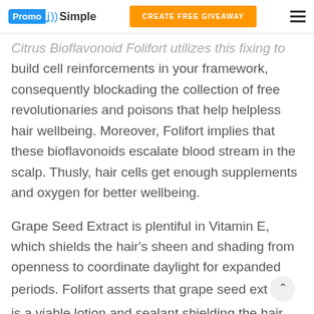PromoSimple | CREATE FREE GIVEAWAY
Citrus Bioflavonoid Folifort utilizes this fixing to build cell reinforcements in your framework, consequently blockading the collection of free revolutionaries and poisons that help helpless hair wellbeing. Moreover, Folifort implies that these bioflavonoids escalate blood stream in the scalp. Thusly, hair cells get enough supplements and oxygen for better wellbeing.
Grape Seed Extract is plentiful in Vitamin E, which shields the hair's sheen and shading from openness to coordinate daylight for expanded periods. Folifort asserts that grape seed extract is a viable lotion and sealant shielding the hair from extreme harm.